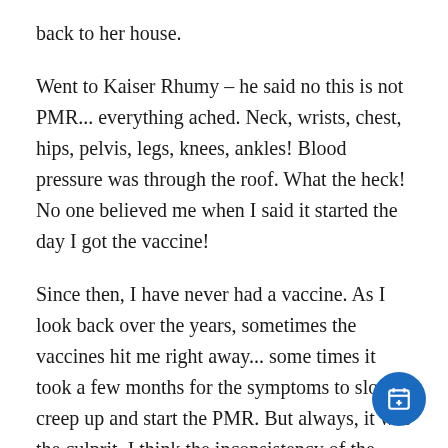back to her house.
Went to Kaiser Rhumy – he said no this is not PMR... everything ached. Neck, wrists, chest, hips, pelvis, legs, knees, ankles! Blood pressure was through the roof. What the heck! No one believed me when I said it started the day I got the vaccine!
Since then, I have never had a vaccine. As I look back over the years, sometimes the vaccines hit me right away... some times it took a few months for the symptoms to slowly creep up and start the PMR. But always, it was the culprit. I think the inconsistency of the symptoms is what made me confused as to what started the